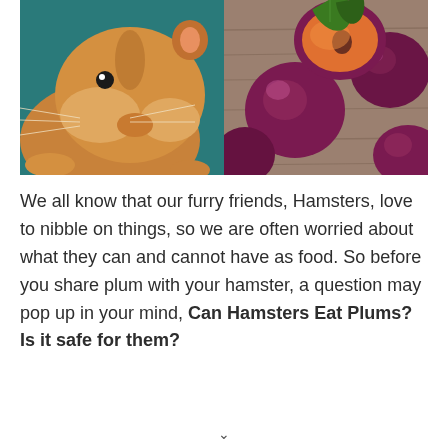[Figure (photo): Split photo: left half shows a close-up of a golden hamster with whiskers visible; right half shows red/purple plums, one cut in half showing orange flesh, with a green leaf, on a wooden surface.]
We all know that our furry friends, Hamsters, love to nibble on things, so we are often worried about what they can and cannot have as food. So before you share plum with your hamster, a question may pop up in your mind, Can Hamsters Eat Plums? Is it safe for them?